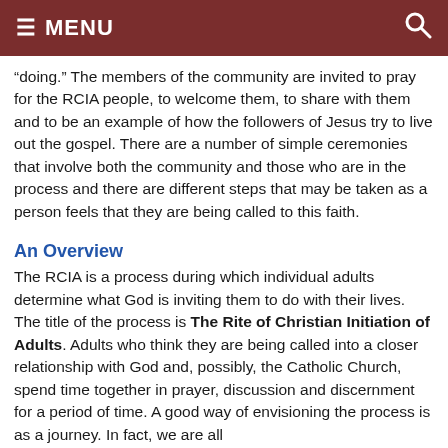≡ MENU
“doing.” The members of the community are invited to pray for the RCIA people, to welcome them, to share with them and to be an example of how the followers of Jesus try to live out the gospel. There are a number of simple ceremonies that involve both the community and those who are in the process and there are different steps that may be taken as a person feels that they are being called to this faith.
An Overview
The RCIA is a process during which individual adults determine what God is inviting them to do with their lives. The title of the process is The Rite of Christian Initiation of Adults. Adults who think they are being called into a closer relationship with God and, possibly, the Catholic Church, spend time together in prayer, discussion and discernment for a period of time. A good way of envisioning the process is as a journey. In fact, we are all